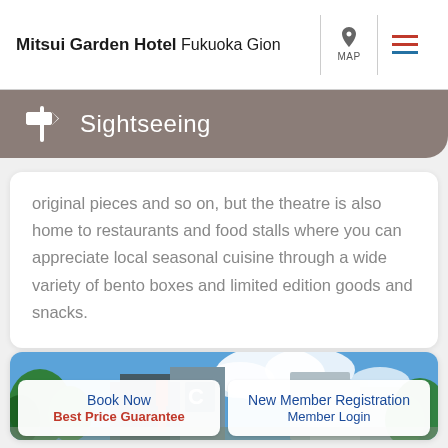Mitsui Garden Hotel Fukuoka Gion
Sightseeing
original pieces and so on, but the theatre is also home to restaurants and food stalls where you can appreciate local seasonal cuisine through a wide variety of bento boxes and limited edition goods and snacks.
[Figure (photo): Exterior photo of a city area showing buildings, trees, a red banner/flag, and blue sky with clouds — likely near the hotel or a shopping/theatre district in Fukuoka.]
Book Now
Best Price Guarantee
New Member Registration
Member Login